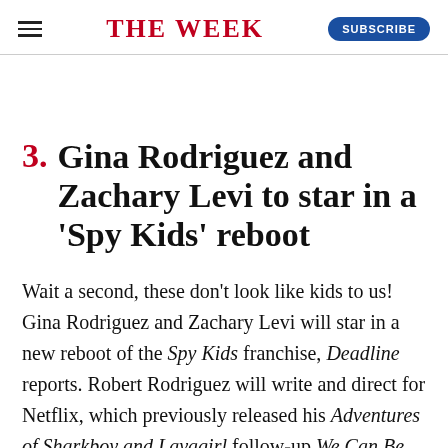THE WEEK
3. Gina Rodriguez and Zachary Levi to star in a 'Spy Kids' reboot
Wait a second, these don't look like kids to us! Gina Rodriguez and Zachary Levi will star in a new reboot of the Spy Kids franchise, Deadline reports. Robert Rodriguez will write and direct for Netflix, which previously released his Adventures of Sharkboy and Lavagirl follow-up We Can Be Heroes. To be clear, this